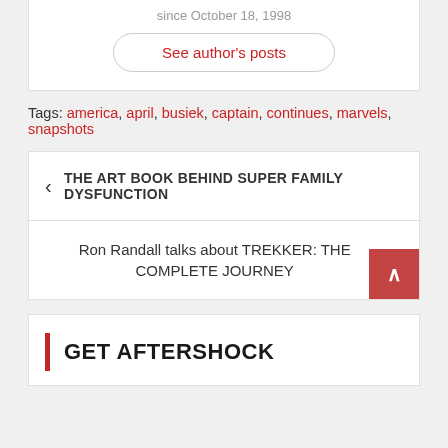since October 18, 1998
See author's posts
Tags: america, april, busiek, captain, continues, marvels, snapshots
< THE ART BOOK BEHIND SUPER FAMILY DYSFUNCTION
Ron Randall talks about TREKKER: THE COMPLETE JOURNEY >
GET AFTERSHOCK